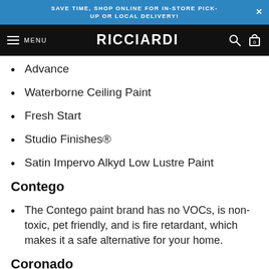SAVE TIME, SHOP ONLINE FOR IN-STORE PICK-UP OR LOCAL DELIVERY!
RICCIARDI — MENU
Advance
Waterborne Ceiling Paint
Fresh Start
Studio Finishes®
Satin Impervo Alkyd Low Lustre Paint
Contego
The Contego paint brand has no VOCs, is non-toxic, pet friendly, and is fire retardant, which makes it a safe alternative for your home.
Coronado